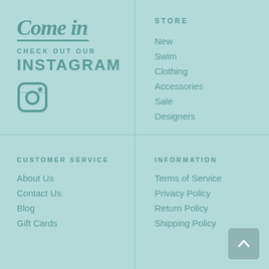[Figure (logo): Come in cursive logo with underline]
CHECK OUT OUR
INSTAGRAM
[Figure (illustration): Instagram camera icon]
STORE
New
Swim
Clothing
Accessories
Sale
Designers
CUSTOMER SERVICE
About Us
Contact Us
Blog
Gift Cards
INFORMATION
Terms of Service
Privacy Policy
Return Policy
Shipping Policy